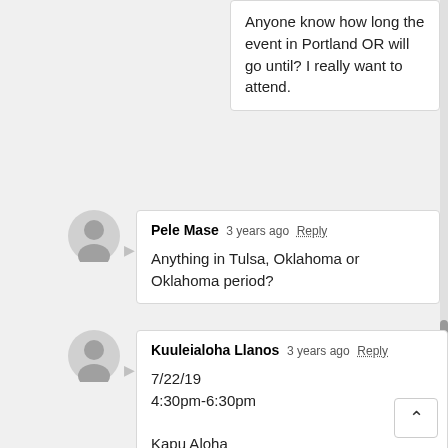Anyone know how long the event in Portland OR will go until? I really want to attend.
Pele Mase 3 years ago Reply
Anything in Tulsa, Oklahoma or Oklahoma period?
Kuuleialoha Llanos 3 years ago Reply
7/22/19
4:30pm-6:30pm

Kapu Aloha

Ka Makana Ali`i
Stoplight near Wendy's and Macys